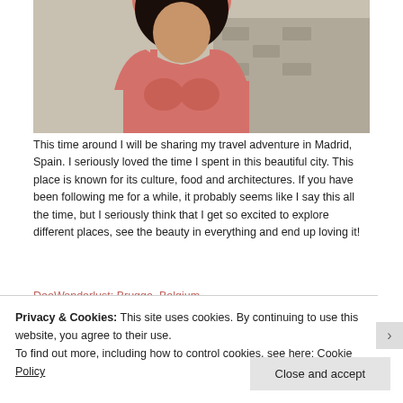[Figure (photo): Photo of a woman in a salmon/coral tank top, cropped at mid-torso, with cobblestone background. Travel blog photo.]
This time around I will be sharing my travel adventure in Madrid, Spain. I seriously loved the time I spent in this beautiful city. This place is known for its culture, food and architectures. If you have been following me for a while, it probably seems like I say this all the time, but I seriously think that I get so excited to explore different places, see the beauty in everything and end up loving it!
DeeWanderlust: Brugge, Belgium
Privacy & Cookies: This site uses cookies. By continuing to use this website, you agree to their use.
To find out more, including how to control cookies, see here: Cookie Policy
Close and accept